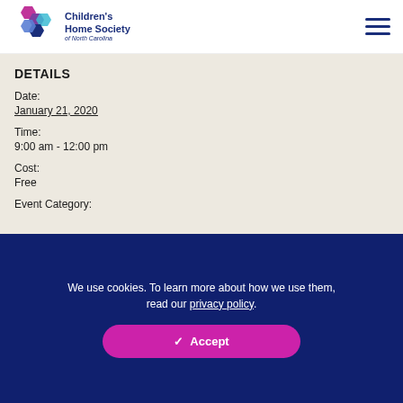[Figure (logo): Children's Home Society of North Carolina logo with colorful hexagon shapes and organization name]
DETAILS
Date:
January 21, 2020
Time:
9:00 am - 12:00 pm
Cost:
Free
Event Category:
We use cookies. To learn more about how we use them, read our privacy policy.
✓ Accept